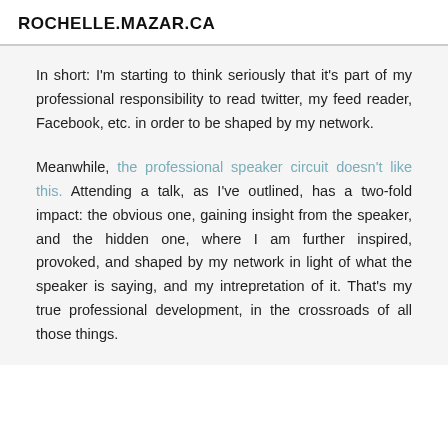ROCHELLE.MAZAR.CA
In short: I'm starting to think seriously that it's part of my professional responsibility to read twitter, my feed reader, Facebook, etc. in order to be shaped by my network.
Meanwhile, the professional speaker circuit doesn't like this. Attending a talk, as I've outlined, has a two-fold impact: the obvious one, gaining insight from the speaker, and the hidden one, where I am further inspired, provoked, and shaped by my network in light of what the speaker is saying, and my intrepretation of it. That's my true professional development, in the crossroads of all those things.